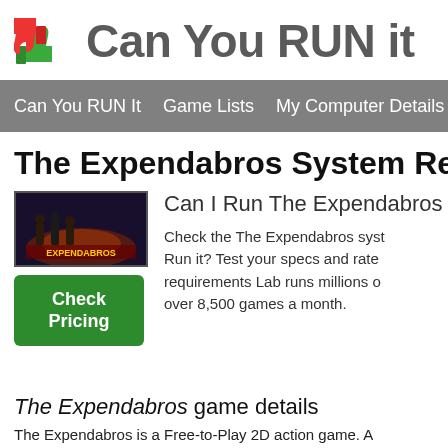[Figure (logo): Can You RUN it logo with green thumbs up and red thumbs down icon, followed by bold gray text 'Can You RUN it']
Can You RUN It   Game Lists   My Computer Details
The Expendabros System Rec
[Figure (screenshot): The Expendabros game thumbnail image with dark background and game logo]
Check Pricing
Can I Run The Expendabros
Check the The Expendabros syst Run it? Test your specs and rate requirements Lab runs millions o over 8,500 games a month.
The Expendabros game details
The Expendabros is a Free-to-Play 2D action game. A